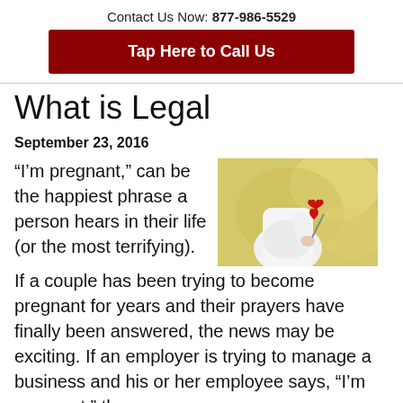Contact Us Now: 877-986-5529
Tap Here to Call Us
What is Legal
September 23, 2016
“I’m pregnant,” can be the happiest phrase a person hears in their life (or the most terrifying). If a couple has been trying to become pregnant for years and their prayers have finally been answered, the news may be exciting. If an employer is trying to manage a business and his or her employee says, “I’m pregnant,” the news
[Figure (photo): Pregnant woman in white dress holding a red heart-shaped lollipop against a yellow-green background]